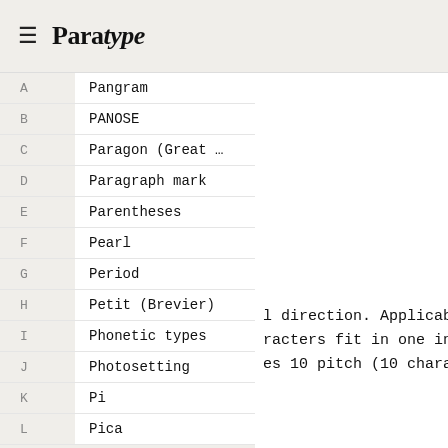≡ Paratype
A  Pangram
B  PANOSE
C  Paragon (Great ...
D  Paragraph mark
E  Parentheses
F  Pearl
G  Period
H  Petit (Brevier)
I  Phonetic types
J  Photosetting
K  Pi
L  Pica
l direction. Applicable
racters fit in one inch
es 10 pitch (10 charact